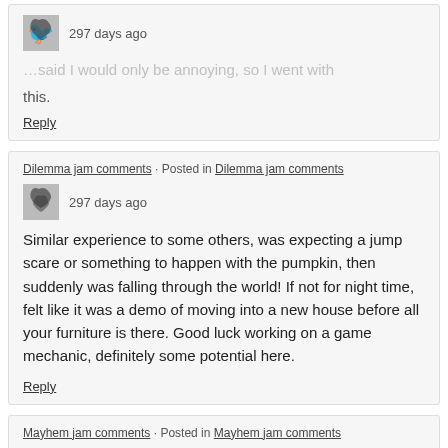…said I would only be annoying, so I went with this.
Reply
Dilemma jam comments · Posted in Dilemma jam comments
297 days ago
Similar experience to some others, was expecting a jump scare or something to happen with the pumpkin, then suddenly was falling through the world! If not for night time, felt like it was a demo of moving into a new house before all your furniture is there. Good luck working on a game mechanic, definitely some potential here.
Reply
Mayhem jam comments · Posted in Mayhem jam comments